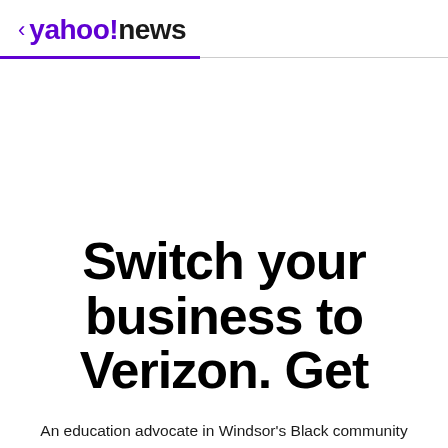< yahoo!news
[Figure (other): Advertisement area for Verizon business promotion with large bold text reading 'Switch your business to Verizon. Get']
An education advocate in Windsor's Black community